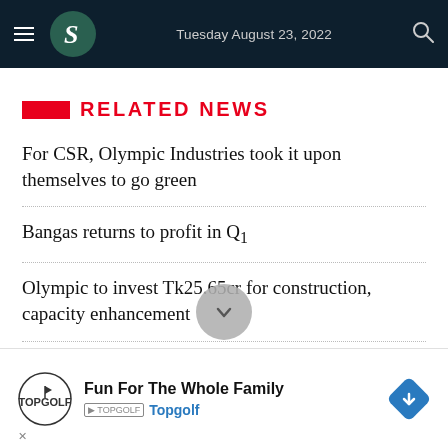Tuesday August 23, 2022
RELATED NEWS
For CSR, Olympic Industries took it upon themselves to go green
Bangas returns to profit in Q1
Olympic to invest Tk25.65cr for construction, capacity enhancement
Olympic to purchase l[...] expansion
Fun For The Whole Family
Topgolf